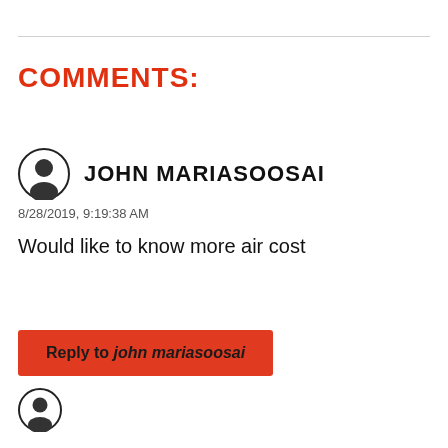COMMENTS:
JOHN MARIASOOSAI
8/28/2019, 9:19:38 AM
Would like to know more air cost
Reply to john mariasoosai